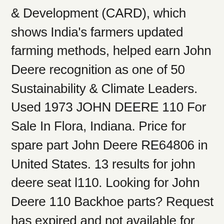& Development (CARD), which shows India's farmers updated farming methods, helped earn John Deere recognition as one of 50 Sustainability & Climate Leaders. Used 1973 JOHN DEERE 110 For Sale In Flora, Indiana. Price for spare part John Deere RE64806 in United States. 13 results for john deere seat l110. Looking for John Deere 110 Backhoe parts? Request has expired and not available for quoting. It had a maximum fuel capacity of 1.9 gallons. John Deere & company was founded in 1837 and Headquartered in Moline, Illinois, United States, John Deere has delivered products and services to support those linked to the farm. Close Seller -